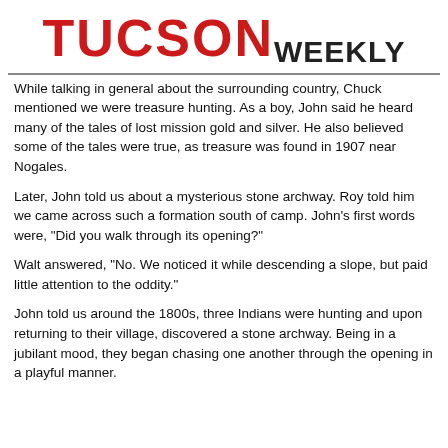TUCSON WEEKLY
While talking in general about the surrounding country, Chuck mentioned we were treasure hunting. As a boy, John said he heard many of the tales of lost mission gold and silver. He also believed some of the tales were true, as treasure was found in 1907 near Nogales.
Later, John told us about a mysterious stone archway. Roy told him we came across such a formation south of camp. John's first words were, "Did you walk through its opening?"
Walt answered, "No. We noticed it while descending a slope, but paid little attention to the oddity."
John told us around the 1800s, three Indians were hunting and upon returning to their village, discovered a stone archway. Being in a jubilant mood, they began chasing one another through the opening in a playful manner.